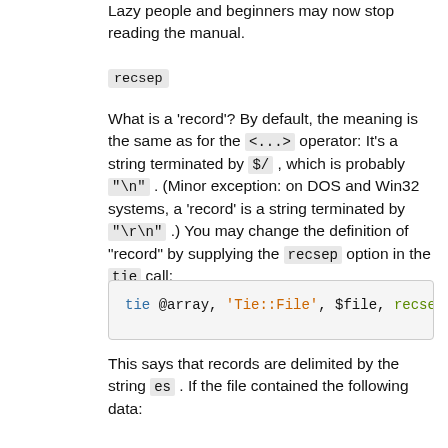Lazy people and beginners may now stop reading the manual.
recsep
What is a 'record'? By default, the meaning is the same as for the <...> operator: It's a string terminated by $/ , which is probably "\n" . (Minor exception: on DOS and Win32 systems, a 'record' is a string terminated by "\r\n" .) You may change the definition of "record" by supplying the recsep option in the tie call:
tie @array, 'Tie::File', $file, recsep => 'es
This says that records are delimited by the string es . If the file contained the following data:
Curse these pesky flies!\n
then the @array would appear to have four elements: